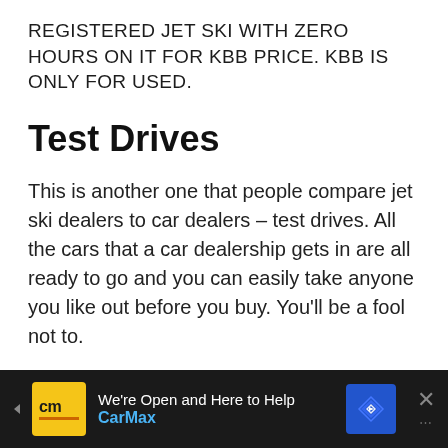REGISTERED JET SKI WITH ZERO HOURS ON IT FOR KBB PRICE. KBB IS ONLY FOR USED.
Test Drives
This is another one that people compare jet ski dealers to car dealers – test drives. All the cars that a car dealership gets in are all ready to go and you can easily take anyone you like out before you buy. You'll be a fool not to.
This is not so easily done with watercraft. It's nothing for you to hop in a car and
[Figure (other): CarMax advertisement banner at bottom of page with logo, tagline 'We're Open and Here to Help', CarMax branding in blue, navigation icon, and close button]